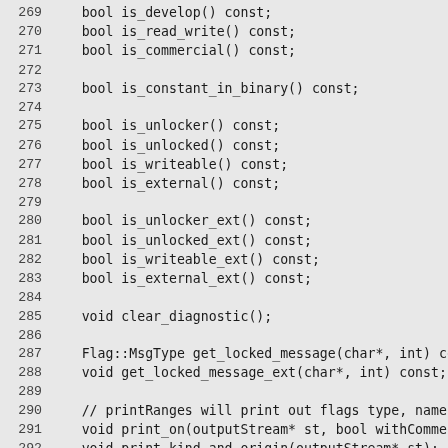269    bool is_develop() const;
270    bool is_read_write() const;
271    bool is_commercial() const;
272
273    bool is_constant_in_binary() const;
274
275    bool is_unlocker() const;
276    bool is_unlocked() const;
277    bool is_writeable() const;
278    bool is_external() const;
279
280    bool is_unlocker_ext() const;
281    bool is_unlocked_ext() const;
282    bool is_writeable_ext() const;
283    bool is_external_ext() const;
284
285    void clear_diagnostic();
286
287    Flag::MsgType get_locked_message(char*, int) const
288    void get_locked_message_ext(char*, int) const;
289
290    // printRanges will print out flags type, name and
291    void print_on(outputStream* st, bool withComments
292    void print_kind_and_origin(outputStream* st);
293    void print_as_flag(outputStream* st);
294
295    static const char* flag_error_str(Flag::Error erro
296 };
297
298 // debug flags control various aspects of the VM and